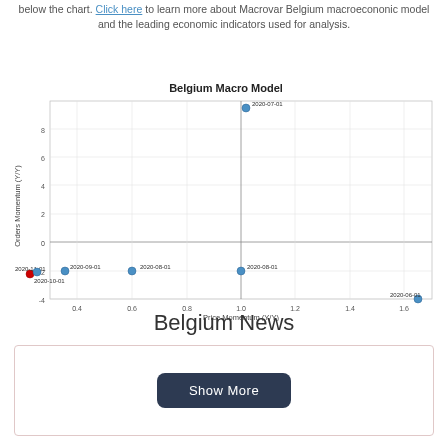below the chart. Click here to learn more about Macrovar Belgium macroecononic model and the leading economic indicators used for analysis.
[Figure (scatter-plot): Belgium Macro Model]
Belgium News
Show More